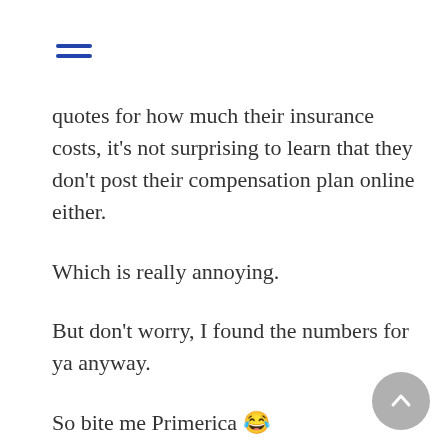≡ (hamburger menu icon)
quotes for how much their insurance costs, it's not surprising to learn that they don't post their compensation plan online either.
Which is really annoying.
But don't worry, I found the numbers for ya anyway.
So bite me Primerica 😂
Now, the most important number in any